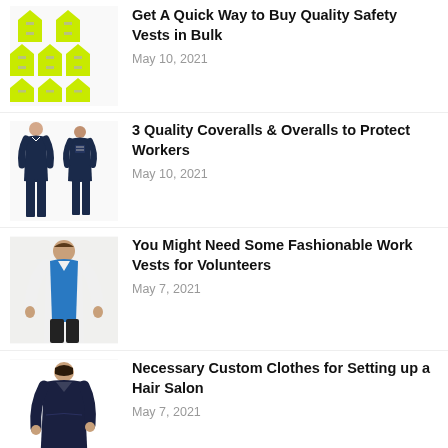[Figure (illustration): Multiple yellow/lime safety vests arranged in a group]
Get A Quick Way to Buy Quality Safety Vests in Bulk
May 10, 2021
[Figure (illustration): Two people wearing navy blue coveralls/overalls workwear]
3 Quality Coveralls & Overalls to Protect Workers
May 10, 2021
[Figure (illustration): Man wearing a blue work vest over white long-sleeve shirt]
You Might Need Some Fashionable Work Vests for Volunteers
May 7, 2021
[Figure (illustration): Person wearing a long navy blue hair salon coat/apron]
Necessary Custom Clothes for Setting up a Hair Salon
May 7, 2021